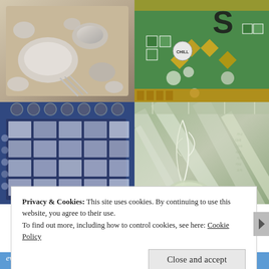[Figure (photo): Top-left photo: silver/crystal glassware, bowls, plates, and utensils in a display tray]
[Figure (photo): Top-right photo: colorful mosaic art with green tiles, gems, gold diamonds, and letter S]
[Figure (photo): Bottom-left photo: blue and white spotted/floral ceramic tiles or tableware organized in rows]
[Figure (photo): Bottom-right photo: close-up of crystal/glass with etched leaf/floral pattern, greenish tones]
Privacy & Cookies: This site uses cookies. By continuing to use this website, you agree to their use.
To find out more, including how to control cookies, see here: Cookie Policy
Close and accept
everything you need.